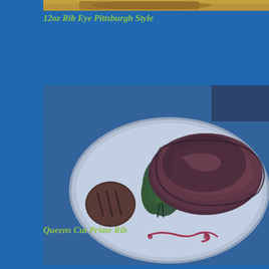[Figure (photo): Partial view of a plated dish, likely the top portion of a 12oz Rib Eye Pittsburgh Style, showing the edge of a tan/golden-brown colored food item on a plate against a blue background.]
12oz Rib Eye Pittsburgh Style
[Figure (photo): A white oval plate with a Queens Cut Prime Rib steak garnished with green leafy herbs/watercress, a grilled mushroom on the left side, and a decorative red sauce drizzle on the plate. The photo has a blue-toned/dim lighting ambiance.]
Queens Cut Prime Rib